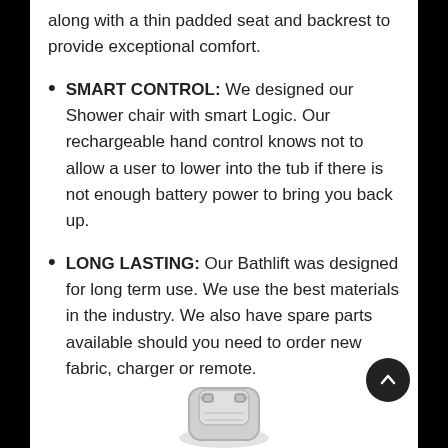along with a thin padded seat and backrest to provide exceptional comfort.
SMART CONTROL: We designed our Shower chair with smart Logic. Our rechargeable hand control knows not to allow a user to lower into the tub if there is not enough battery power to bring you back up.
LONG LASTING: Our Bathlift was designed for long term use. We use the best materials in the industry. We also have spare parts available should you need to order new fabric, charger or remote.
[Figure (photo): Partial view of a bath lift seat product, gray/silver colored, shown at the bottom of the page.]